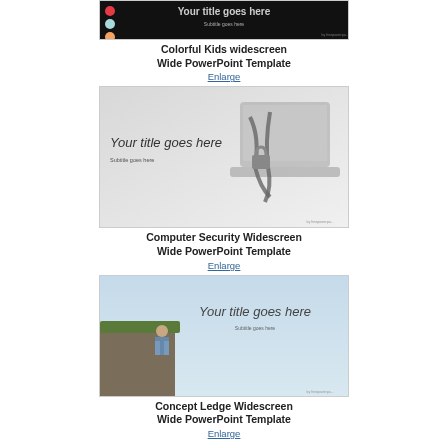[Figure (screenshot): Colorful Kids widescreen PowerPoint template thumbnail - dark background with colorful dots]
Colorful Kids widescreen
Wide PowerPoint Template
Enlarge
[Figure (screenshot): Computer Security Widescreen PowerPoint template thumbnail - laptop with chain]
Computer Security Widescreen
Wide PowerPoint Template
Enlarge
[Figure (screenshot): Concept Ledge Widescreen PowerPoint template thumbnail - cliff edge illustration]
Concept Ledge Widescreen
Wide PowerPoint Template
Enlarge